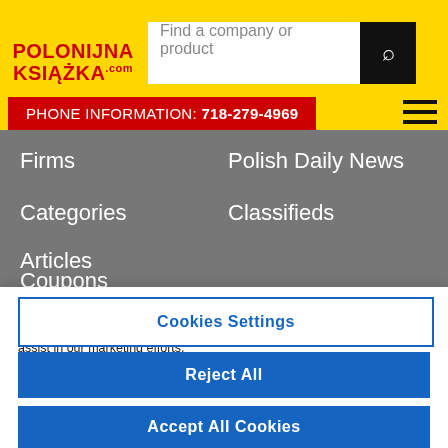[Figure (logo): PolonijnaKsiazka.com logo in red bold text on yellow background]
Find a company or product
PHONE INFORMATION: 718-279-4969
Firms
Polish Daily News
Categories
Classifieds
Articles
Coupons
By clicking "Accept All Cookies", you agree to the storing of cookies on your device to enhance site navigation, analyze site usage, and assist in our marketing efforts.
Cookies Settings
Reject All
Accept All Cookies